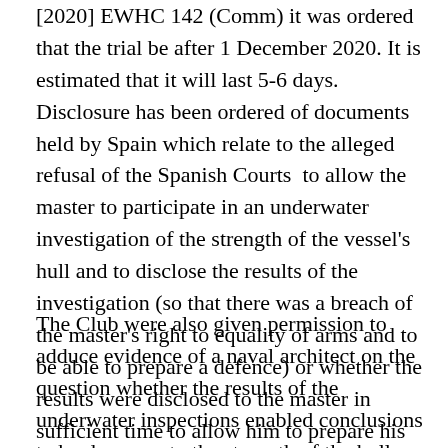[2020] EWHC 142 (Comm) it was ordered that the trial be after 1 December 2020. It is estimated that it will last 5-6 days. Disclosure has been ordered of documents held by Spain which relate to the alleged refusal of the Spanish Courts  to allow the master to participate in an underwater investigation of the strength of the vessel's hull and to disclose the results of the investigation (so that there was a breach of the master's right to equality of arms and to be able to prepare a defence) or whether the results were disclosed to the master in sufficient time to allow him to prepare his defence.
The Club were also given permission to adduce evidence of a naval architect on the question whether the results of the underwater inspections enabled conclusions to be drawn as to the strength of the hull and if so what those conclusions were. On both issues the Club is to provide its evidence